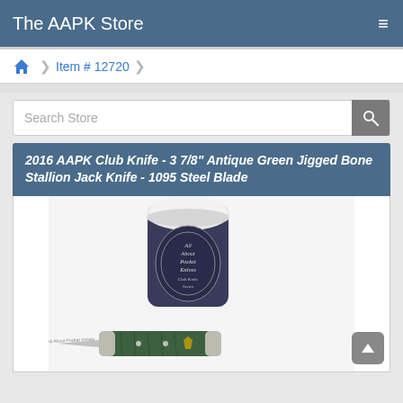The AAPK Store
Item # 12720
Search Store
2016 AAPK Club Knife - 3 7/8" Antique Green Jigged Bone Stallion Jack Knife - 1095 Steel Blade
[Figure (photo): Photo of a 2016 AAPK Club Knife product showing a cylindrical tube container labeled 'All About Pocket Knives' with decorative graphics, and a green jigged bone handle jack knife at the bottom.]